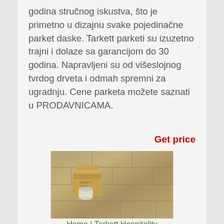godina stručnog iskustva, što je primetno u dizajnu svake pojedinačne parket daske. Tarkett parketi su izuzetno trajni i dolaze sa garancijom do 30 godina. Napravljeni su od višeslojnog tvrdog drveta i odmah spremni za ugradnju. Cene parketa možete saznati u PRODAVNICAMA.
Get price
[Figure (photo): Photo of Tarkett hardwood flooring planks in a gray-brown oak finish, with some small items (books, a jar) placed on top.]
Home | Tarkett Hospitality